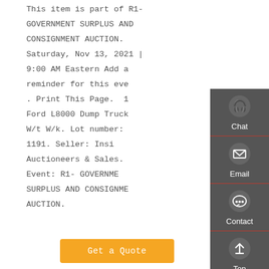This item is part of R1- GOVERNMENT SURPLUS AND CONSIGNMENT AUCTION. Saturday, Nov 13, 2021 | 9:00 AM Eastern Add a reminder for this event. . Print This Page. 10... Ford L8000 Dump Truck W/t W/k. Lot number: 1191. Seller: Insight Auctioneers & Sales. Event: R1- GOVERNMENT SURPLUS AND CONSIGNMENT AUCTION.
[Figure (infographic): Sidebar widget with dark grey background showing four contact/navigation options: Chat (headset icon), Email (envelope icon), Contact (speech bubble icon), Top (upward arrow icon), each separated by a red horizontal rule.]
Get a Quote